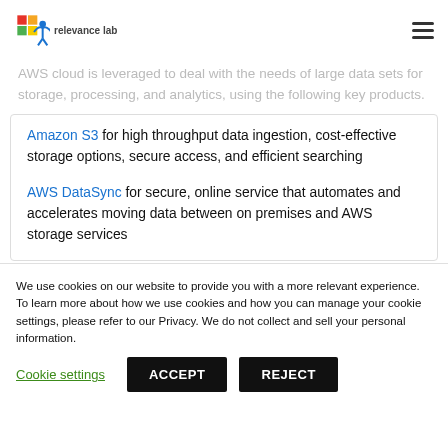relevance lab [logo]
AWS cloud is leveraged to deal with the needs of large data sets for storage, processing, and analytics, using the following key products.
Amazon S3 for high throughput data ingestion, cost-effective storage options, secure access, and efficient searching
AWS DataSync for secure, online service that automates and accelerates moving data between on premises and AWS storage services
We use cookies on our website to provide you with a more relevant experience.
To learn more about how we use cookies and how you can manage your cookie settings, please refer to our Privacy.
We do not collect and sell your personal information.
Cookie settings   ACCEPT   REJECT